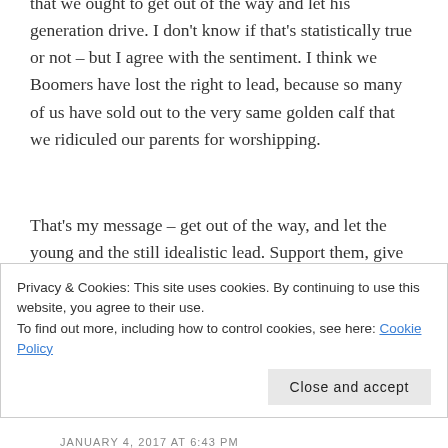that we ought to get out of the way and let his generation drive. I don't know if that's statistically true or not – but I agree with the sentiment. I think we Boomers have lost the right to lead, because so many of us have sold out to the very same golden calf that we ridiculed our parents for worshipping.
That's my message – get out of the way, and let the young and the still idealistic lead. Support them, give advice when they ask for it, but don't keep trying to drive the bus, or we're all going over the cliff.
Privacy & Cookies: This site uses cookies. By continuing to use this website, you agree to their use.
To find out more, including how to control cookies, see here: Cookie Policy
Close and accept
JANUARY 4, 2017 AT 6:43 PM